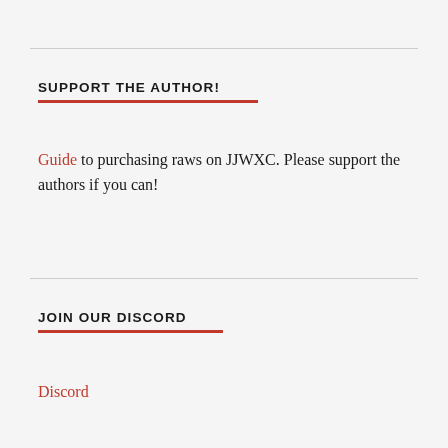SUPPORT THE AUTHOR!
Guide to purchasing raws on JJWXC. Please support the authors if you can!
JOIN OUR DISCORD
Discord